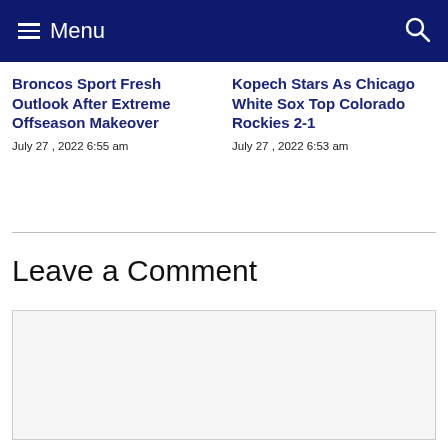Menu
Broncos Sport Fresh Outlook After Extreme Offseason Makeover
July 27 , 2022 6:55 am
Kopech Stars As Chicago White Sox Top Colorado Rockies 2-1
July 27 , 2022 6:53 am
Leave a Comment